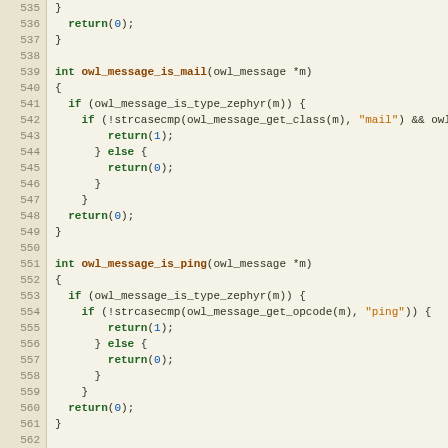[Figure (screenshot): Source code listing in C, lines 535-565, showing functions owl_message_is_mail, owl_message_is_ping, and start of owl_message_is_burningears with syntax highlighting on a tan/cream background.]